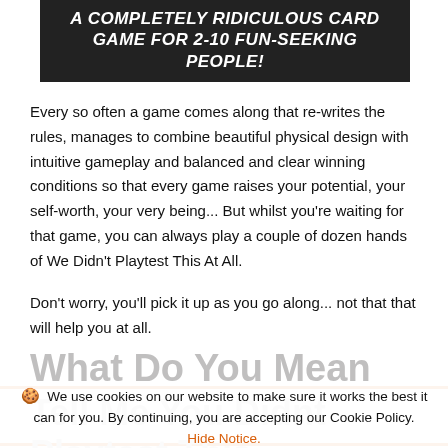[Figure (other): Black banner with white bold italic text reading: A COMPLETELY RIDICULOUS CARD GAME FOR 2-10 FUN-SEEKING PEOPLE!]
Every so often a game comes along that re-writes the rules, manages to combine beautiful physical design with intuitive gameplay and balanced and clear winning conditions so that every game raises your potential, your self-worth, your very being... But whilst you're waiting for that game, you can always play a couple of dozen hands of We Didn't Playtest This At All.
Don't worry, you'll pick it up as you go along... not that that will help you at all.
What Do You Mean I've
🍪 We use cookies on our website to make sure it works the best it can for you. By continuing, you are accepting our Cookie Policy. Hide Notice.